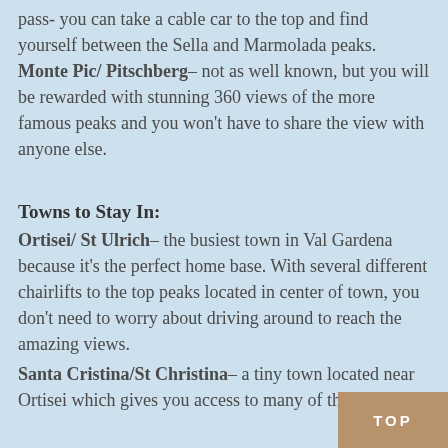pass- you can take a cable car to the top and find yourself between the Sella and Marmolada peaks. Monte Pic/ Pitschberg– not as well known, but you will be rewarded with stunning 360 views of the more famous peaks and you won't have to share the view with anyone else.
Towns to Stay In:
Ortisei/ St Ulrich– the busiest town in Val Gardena because it's the perfect home base. With several different chairlifts to the top peaks located in center of town, you don't need to worry about driving around to reach the amazing views.
Santa Cristina/St Christina– a tiny town located near Ortisei which gives you access to many of the lesser-